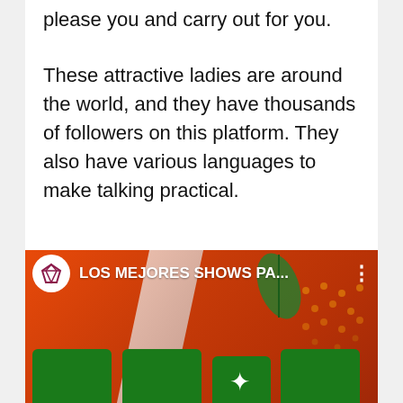please you and carry out for you.
These attractive ladies are around the world, and they have thousands of followers on this platform. They also have various languages to make talking practical.
[Figure (screenshot): Screenshot of a social media video thumbnail showing 'LOS MEJORES SHOWS PA...' with a diamond icon, orange/red background, green decorative blocks at the bottom, and partial green/white flag imagery.]